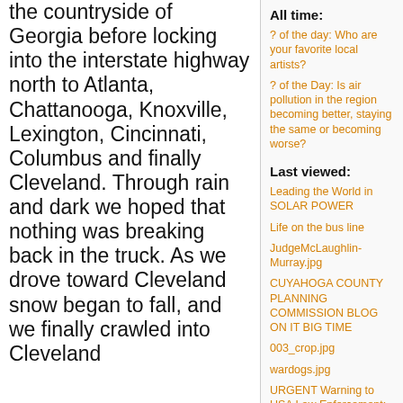the countryside of Georgia before locking into the interstate highway north to Atlanta, Chattanooga, Knoxville, Lexington, Cincinnati, Columbus and finally Cleveland. Through rain and dark we hoped that nothing was breaking back in the truck. As we drove toward Cleveland snow began to fall, and we finally crawled into Cleveland
All time:
? of the day: Who are your favorite local artists?
? of the Day: Is air pollution in the region becoming better, staying the same or becoming worse?
Last viewed:
Leading the World in SOLAR POWER
Life on the bus line
JudgeMcLaughlin-Murray.jpg
CUYAHOGA COUNTY PLANNING COMMISSION BLOG ON IT BIG TIME
003_crop.jpg
wardogs.jpg
URGENT Warning to USA Law Enforcement; Beware 3/28/14! - plus yellowstone ? (danger - big hawk flew back yard few feet - omen